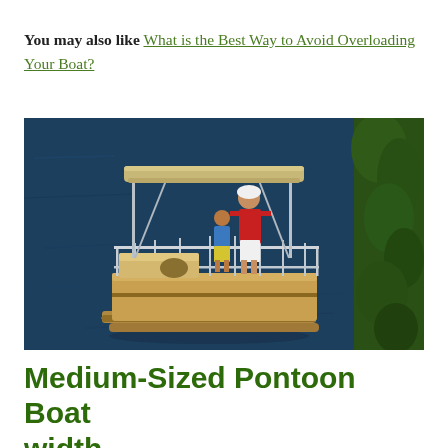You may also like What is the Best Way to Avoid Overloading Your Boat?
[Figure (photo): Aerial view of a pontoon boat on dark water with two people aboard (adult in red shirt and white shorts, child in blue and yellow). The boat has a beige canopy, tan/gold hull and seating. Green vegetation visible at right edge.]
Medium-Sized Pontoon Boat width